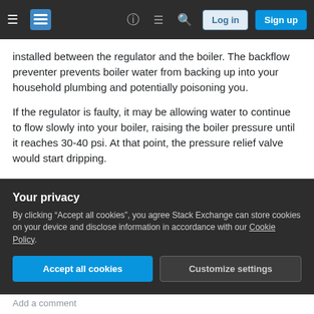Stack Exchange navigation bar with hamburger menu, logo, help, chat, search, Log in, Sign up
installed between the regulator and the boiler. The backflow preventer prevents boiler water from backing up into your household plumbing and potentially poisoning you.
If the regulator is faulty, it may be allowing water to continue to flow slowly into your boiler, raising the boiler pressure until it reaches 30-40 psi. At that point, the pressure relief valve would start dripping.
Your plumber may be planning to replace the feed water regulator and the backflow preventer at the
Your privacy
By clicking “Accept all cookies”, you agree Stack Exchange can store cookies on your device and disclose information in accordance with our Cookie Policy.
Accept all cookies  Customize settings
Add a comment